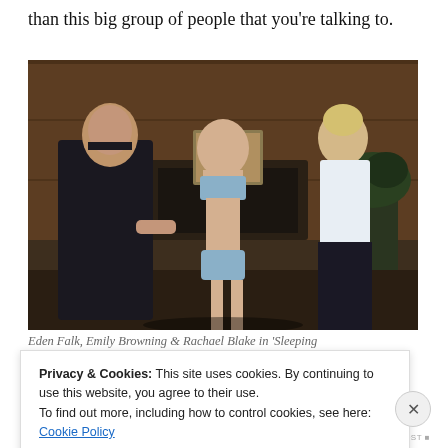than this big group of people that you’re talking to.
[Figure (photo): A scene from a film showing three people in an elegant wood-paneled room: a man in a dark suit on the left examining a young woman standing in the center wearing only light blue underwear, and a blonde woman in a white blouse and dark skirt on the right observing.]
Eden Falk, Emily Browning & Rachael Blake in ‘Sleeping
Privacy & Cookies: This site uses cookies. By continuing to use this website, you agree to their use.
To find out more, including how to control cookies, see here: Cookie Policy